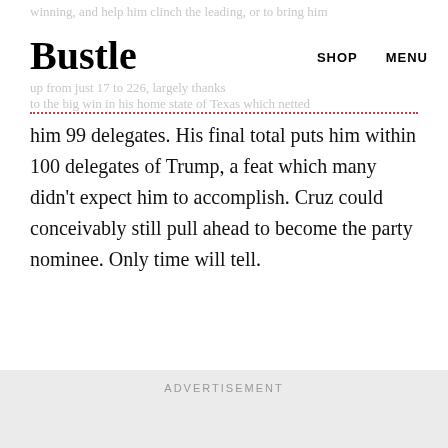Bustle | SHOP | MENU
him 99 delegates. His final total puts him within 100 delegates of Trump, a feat which many didn't expect him to accomplish. Cruz could conceivably still pull ahead to become the party nominee. Only time will tell.
ADVERTISEMENT